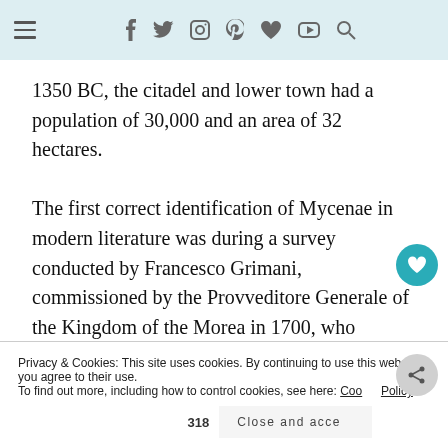≡ f y 🐦 ☞ ♥ ▶ 🔍
1350 BC, the citadel and lower town had a population of 30,000 and an area of 32 hectares.

The first correct identification of Mycenae in modern literature was during a survey conducted by Francesco Grimani, commissioned by the Provveditore Generale of the Kingdom of the Morea in 1700, who
Privacy & Cookies: This site uses cookies. By continuing to use this website, you agree to their use.
To find out more, including how to control cookies, see here: Cookie Policy